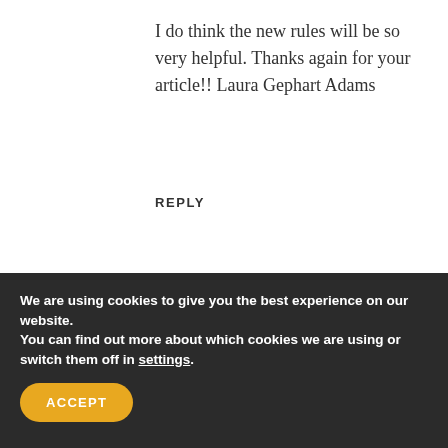I do think the new rules will be so very helpful. Thanks again for your article!! Laura Gephart Adams
REPLY
TREE  January 17, 2022 at 6:40 pm
It makes it easy to find the grave again (or by another family member) if you open
We are using cookies to give you the best experience on our website.
You can find out more about which cookies we are using or switch them off in settings.
ACCEPT